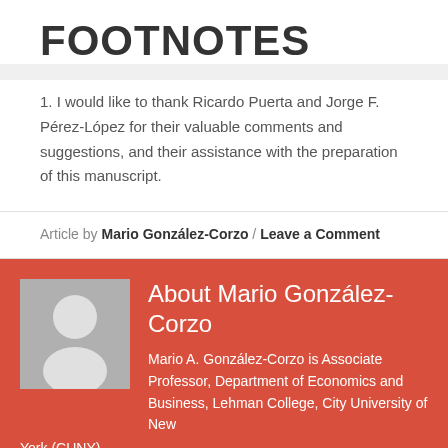FOOTNOTES
1. I would like to thank Ricardo Puerta and Jorge F. Pérez-López for their valuable comments and suggestions, and their assistance with the preparation of this manuscript.
Article by Mario González-Corzo / Leave a Comment
About Mario González-Corzo
Mario A. González-Corzo is Associate Professor, Department of Economics and Business, Lehman College, City University of New York (CUNY).